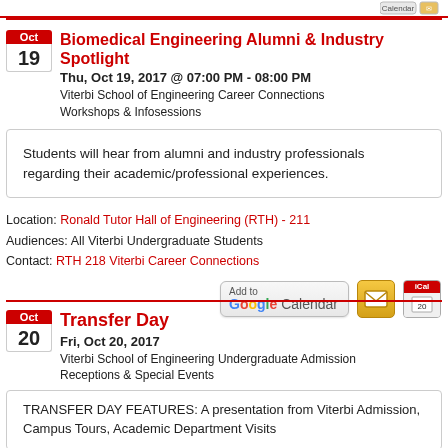Biomedical Engineering Alumni & Industry Spotlight
Thu, Oct 19, 2017 @ 07:00 PM - 08:00 PM
Viterbi School of Engineering Career Connections
Workshops & Infosessions
Students will hear from alumni and industry professionals regarding their academic/professional experiences.
Location: Ronald Tutor Hall of Engineering (RTH) - 211
Audiences: All Viterbi Undergraduate Students
Contact: RTH 218 Viterbi Career Connections
Transfer Day
Fri, Oct 20, 2017
Viterbi School of Engineering Undergraduate Admission
Receptions & Special Events
TRANSFER DAY FEATURES: A presentation from Viterbi Admission, Campus Tours, Academic Department Visits